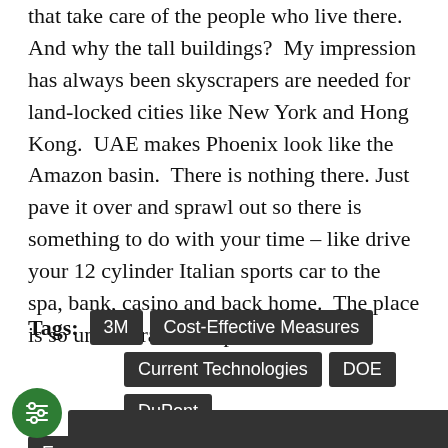that take care of the people who live there. And why the tall buildings? My impression has always been skyscrapers are needed for land-locked cities like New York and Hong Kong. UAE makes Phoenix look like the Amazon basin. There is nothing there. Just pave it over and sprawl out so there is something to do with your time – like drive your 12 cylinder Italian sports car to the spa, bank, casino and back home. The place is so un-natural it creeps me out.
Tags: 3M  Cost-Effective Measures  Current Technologies  DOE  DuPont  Energy